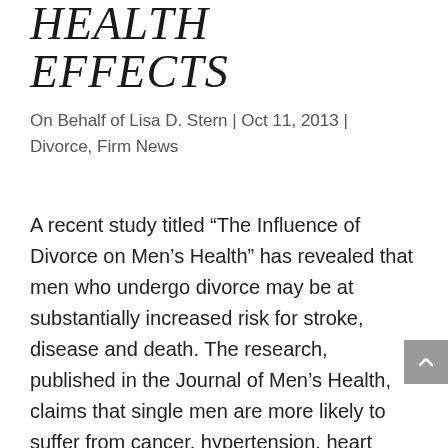HEALTH EFFECTS
On Behalf of Lisa D. Stern | Oct 11, 2013 | Divorce, Firm News
A recent study titled “The Influence of Divorce on Men’s Health” has revealed that men who undergo divorce may be at substantially increased risk for stroke, disease and death. The research, published in the Journal of Men’s Health, claims that single men are more likely to suffer from cancer, hypertension, heart disease and even simple colds compared to their married counterparts. Even more alarming, the study suggested that divorced males have mortality rates that are 250 percent higher than married